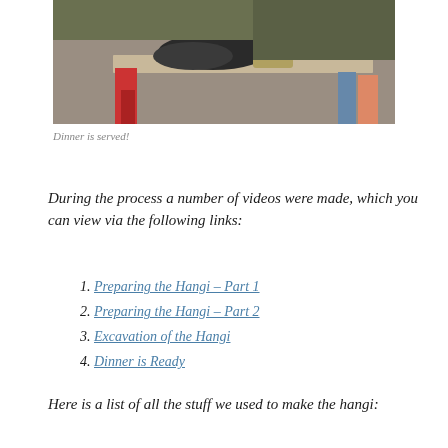[Figure (photo): Outdoor scene showing people around a long wooden table with food and items laid out, photographed at dusk or evening]
Dinner is served!
During the process a number of videos were made, which you can view via the following links:
1. Preparing the Hangi – Part 1
2. Preparing the Hangi – Part 2
3. Excavation of the Hangi
4. Dinner is Ready
Here is a list of all the stuff we used to make the hangi: